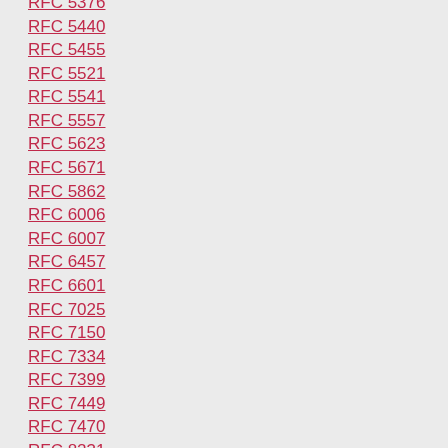RFC 5376
RFC 5440
RFC 5455
RFC 5521
RFC 5541
RFC 5557
RFC 5623
RFC 5671
RFC 5862
RFC 6006
RFC 6007
RFC 6457
RFC 6601
RFC 7025
RFC 7150
RFC 7334
RFC 7399
RFC 7449
RFC 7470
RFC 8231
RFC 8281
RFC 8231